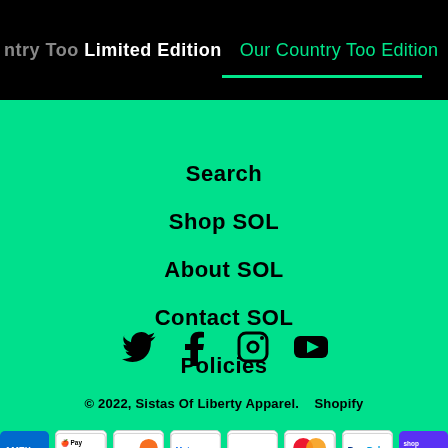ntry Too Limited Edition   Our Country Too Edition   D
Search
Shop SOL
About SOL
Contact SOL
Policies
[Figure (other): Social media icons: Twitter, Facebook, Instagram, YouTube]
© 2022, Sistas Of Liberty Apparel.    Shopify
[Figure (other): Payment method icons: American Express, Apple Pay, Discover, Meta Pay, Google Pay, Mastercard, PayPal, Shop Pay]